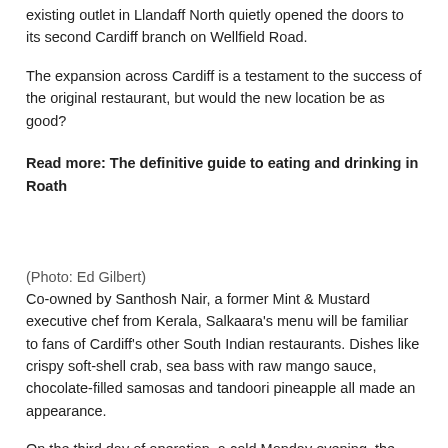existing outlet in Llandaff North quietly opened the doors to its second Cardiff branch on Wellfield Road.
The expansion across Cardiff is a testament to the success of the original restaurant, but would the new location be as good?
Read more: The definitive guide to eating and drinking in Roath
(Photo: Ed Gilbert)
Co-owned by Santhosh Nair, a former Mint & Mustard executive chef from Kerala, Salkaara's menu will be familiar to fans of Cardiff's other South Indian restaurants. Dishes like crispy soft-shell crab, sea bass with raw mango sauce, chocolate-filled samosas and tandoori pineapple all made an appearance.
On the third day of operation, a cold Monday evening, the